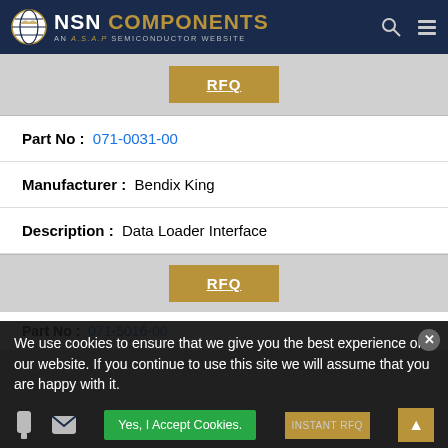NSN COMPONENTS – AN A.S.A.P SEMICONDUCTOR WEBSITE
RFQ
| Field | Value |
| --- | --- |
| Part No : | 071-0031-00 |
| Manufacturer : | Bendix King |
| Description : | Data Loader Interface |
RFQ
Part No : 071-5016-00
We use cookies to ensure that we give you the best experience on our website. If you continue to use this site we will assume that you are happy with it.
Yes, I Accept Cookies.